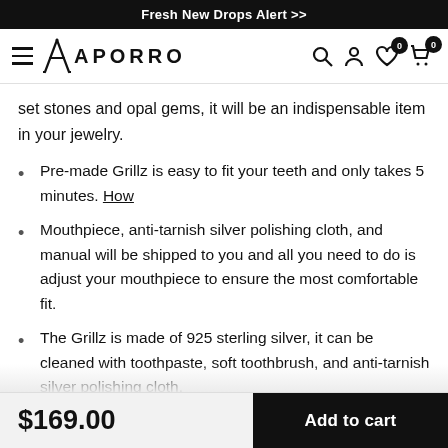Fresh New Drops Alert >>
[Figure (logo): Aporro brand logo with stylized A and hamburger menu icon, plus navigation icons (search, account, wishlist 0, cart 0)]
set stones and opal gems, it will be an indispensable item in your jewelry.
Pre-made Grillz is easy to fit your teeth and only takes 5 minutes. How
Mouthpiece, anti-tarnish silver polishing cloth, and manual will be shipped to you and all you need to do is adjust your mouthpiece to ensure the most comfortable fit.
The Grillz is made of 925 sterling silver, it can be cleaned with toothpaste, soft toothbrush, and anti-tarnish silver polishing cloth.
$169.00
Add to cart